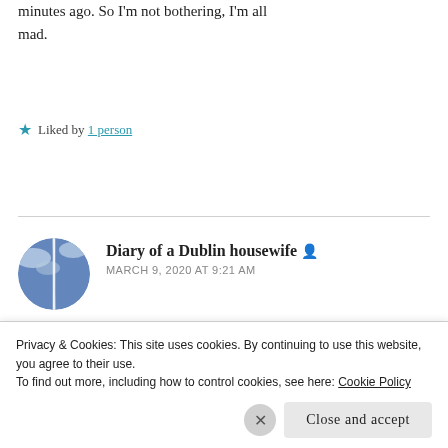minutes ago. So I'm not bothering, I'm all mad.
★ Liked by 1 person
Diary of a Dublin housewife 👤
MARCH 9, 2020 AT 9:21 AM
People have lost the plot altogether 🙈
★ Liked by 1 person
Privacy & Cookies: This site uses cookies. By continuing to use this website, you agree to their use.
To find out more, including how to control cookies, see here: Cookie Policy
Close and accept